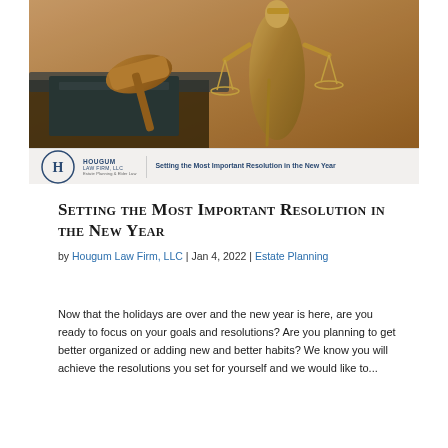[Figure (photo): Photo of a bronze Lady Justice statue holding scales, with a wooden gavel and law book in the background, warm brown tones. Below the photo is a banner with the Hougum Law Firm, LLC logo and tagline 'Setting the Most Important Resolution in the New Year'.]
Setting the Most Important Resolution in the New Year
by Hougum Law Firm, LLC | Jan 4, 2022 | Estate Planning
Now that the holidays are over and the new year is here, are you ready to focus on your goals and resolutions? Are you planning to get better organized or adding new and better habits? We know you will achieve the resolutions you set for yourself and we would like to...